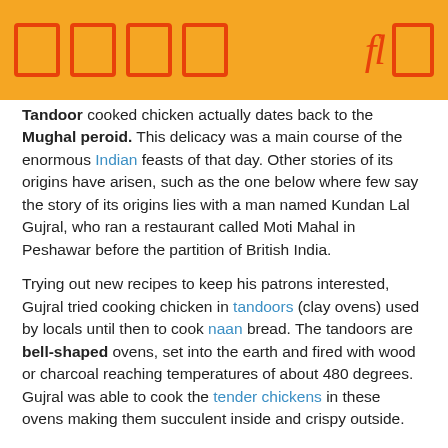[icon boxes] [fl icon]
Tandoor cooked chicken actually dates back to the Mughal peroid. This delicacy was a main course of the enormous Indian feasts of that day. Other stories of its origins have arisen, such as the one below where few say the story of its origins lies with a man named Kundan Lal Gujral, who ran a restaurant called Moti Mahal in Peshawar before the partition of British India.
Trying out new recipes to keep his patrons interested, Gujral tried cooking chicken in tandoors (clay ovens) used by locals until then to cook naan bread. The tandoors are bell-shaped ovens, set into the earth and fired with wood or charcoal reaching temperatures of about 480 degrees. Gujral was able to cook the tender chickens in these ovens making them succulent inside and crispy outside.
After the partition in 1947, Punjab was partitioned with the Eastern portion joining India and western Pakistan. Peshawar became part of Pakistan and Gujral found himself one among many Hindu refugees fleeing the rioting and upheaval by moving to India. He moved his restaurant to Delhi in a place called Daryaganj.